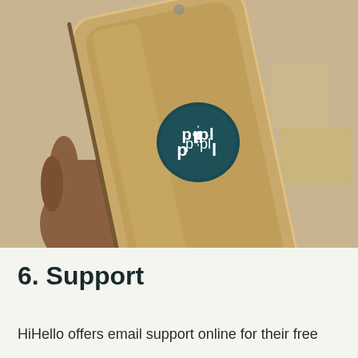[Figure (photo): A hand holding a gold iPhone with a circular dark teal Popl NFC tag sticker on the back. The background is blurred with golden/sandy colors suggesting an outdoor setting.]
6. Support
HiHello offers email support online for their free